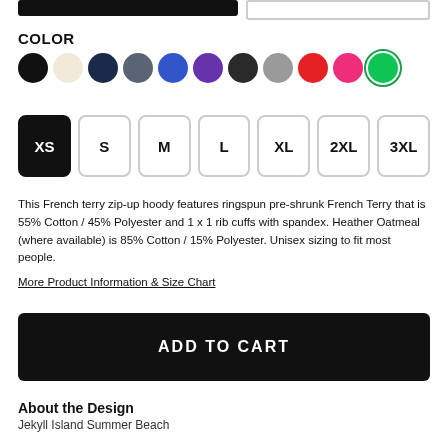COLOR
[Figure (other): Color swatch selector with 11 color circles: black, cream/oatmeal, dark navy, slate gray, blue, purple, dark charcoal, gray, red, hot pink, green (selected with green ring)]
[Figure (other): Size selector buttons: XS (selected/black), S, M, L, XL, 2XL, 3XL]
This French terry zip-up hoody features ringspun pre-shrunk French Terry that is 55% Cotton / 45% Polyester and 1 x 1 rib cuffs with spandex. Heather Oatmeal (where available) is 85% Cotton / 15% Polyester. Unisex sizing to fit most people.
More Product Information & Size Chart
ADD TO CART
About the Design
Jekyll Island Summer Beach